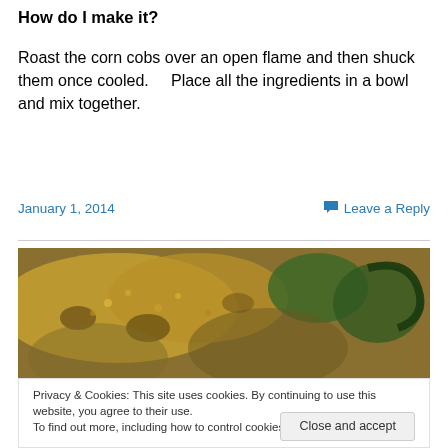How do I make it?
Roast the corn cobs over an open flame and then shuck them once cooled.    Place all the ingredients in a bowl and mix together.
January 1, 2014    Leave a Reply
[Figure (photo): Close-up photo of roasted corn and green vegetables dish]
Privacy & Cookies: This site uses cookies. By continuing to use this website, you agree to their use.
To find out more, including how to control cookies, see here: Cookie Policy
Close and accept